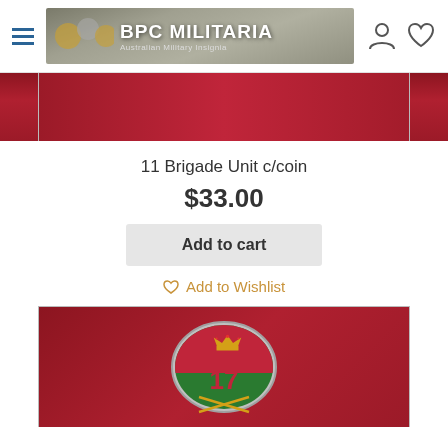[Figure (screenshot): BPC Militaria website header with hamburger menu, logo banner showing gold insignia and brand name, and user/wishlist icons]
[Figure (photo): Top portion of a dark red/maroon product display background, partially cropped at top of page]
11 Brigade Unit c/coin
$33.00
Add to cart
Add to Wishlist
[Figure (photo): Bottom product image showing a military challenge coin with oval green and red design featuring number 17, a crown, crossed swords, and other military insignia, displayed on dark maroon background]